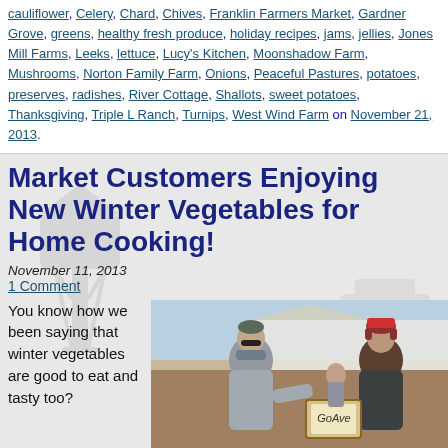cauliflower, Celery, Chard, Chives, Franklin Farmers Market, Gardner Grove, greens, healthy fresh produce, holiday recipes, jams, jellies, Jones Mill Farms, Leeks, lettuce, Lucy's Kitchen, Moonshadow Farm, Mushrooms, Norton Family Farm, Onions, Peaceful Pastures, potatoes, preserves, radishes, River Cottage, Shallots, sweet potatoes, Thanksgiving, Triple L Ranch, Turnips, West Wind Farm on November 21, 2013.
Market Customers Enjoying New Winter Vegetables for Home Cooking!
November 11, 2013
1 Comment
You know how we been saying that winter vegetables are good to eat and tasty too?
[Figure (photo): Two people at an outdoor farmers market booth, one wearing a grey hoodie and beanie, the other wearing a colorful hat with ear flaps, appearing to exchange or look at something. A white tent canopy is visible in the background.]